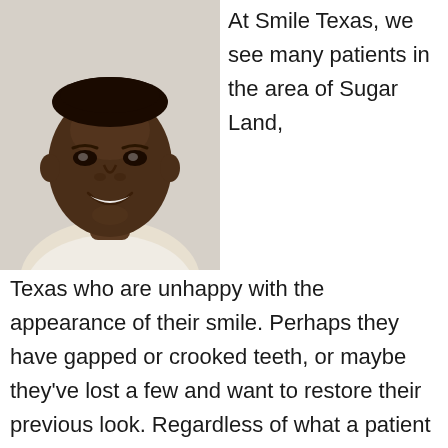[Figure (photo): Smiling young Black man in a white shirt, headshot photo used for a dental practice webpage]
At Smile Texas, we see many patients in the area of Sugar Land,
Texas who are unhappy with the appearance of their smile. Perhaps they have gapped or crooked teeth, or maybe they've lost a few and want to restore their previous look. Regardless of what a patient has imperfect with their smile, our team has solutions! Drs. Rick Kline and Bret Davis proudly offer full mouth rehabilitation for patients to